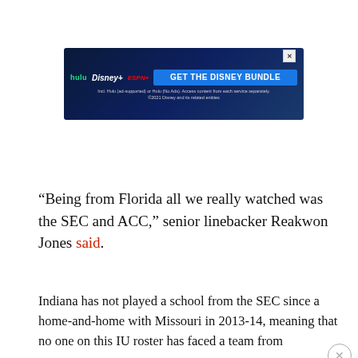[Figure (screenshot): Disney Bundle advertisement banner with Hulu, Disney+, and ESPN+ logos on dark navy background with blue CTA button reading 'GET THE DISNEY BUNDLE'. Small disclaimer text below reads 'Incl. Hulu (ad-supported) or Hulu (No Ads). Access content from each service separately. ©2021 Disney and its related entities']
“Being from Florida all we really watched was the SEC and ACC,” senior linebacker Reakwon Jones said.
Indiana has not played a school from the SEC since a home-and-home with Missouri in 2013-14, meaning that no one on this IU roster has faced a team from that league. Prior to Missouri, the Hoosiers had not faced an SEC school since the Bourbon Barrel series with Kentucky ended in 2005.